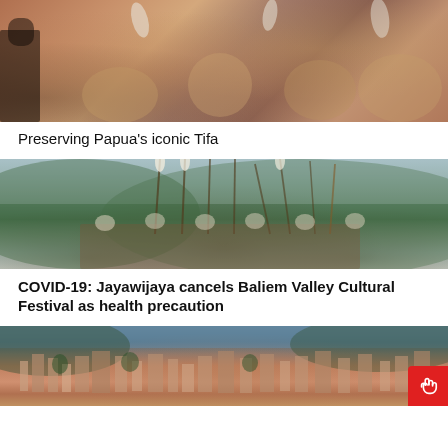[Figure (photo): Indigenous Papuan people in traditional attire and headdresses, performing or gathering at a cultural event.]
Preserving Papua's iconic Tifa
[Figure (photo): Group of Papuan warriors in traditional dress holding spears, standing before a mountainous landscape.]
COVID-19: Jayawijaya cancels Baliem Valley Cultural Festival as health precaution
[Figure (photo): Aerial view of a Papuan city with dense buildings, trees, and hills in the background.]